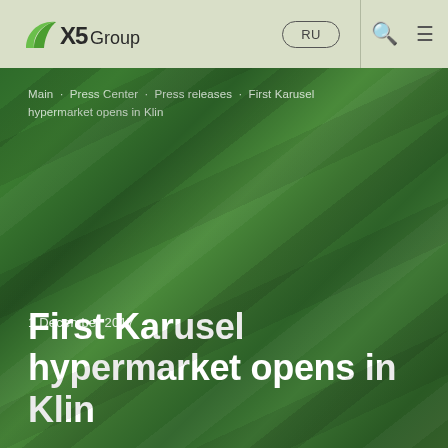[Figure (logo): X5 Group logo with green leaf icon]
RU | Search | Menu
Main · Press Center · Press releases · First Karusel hypermarket opens in Klin
1 December 2017
First Karusel hypermarket opens in Klin